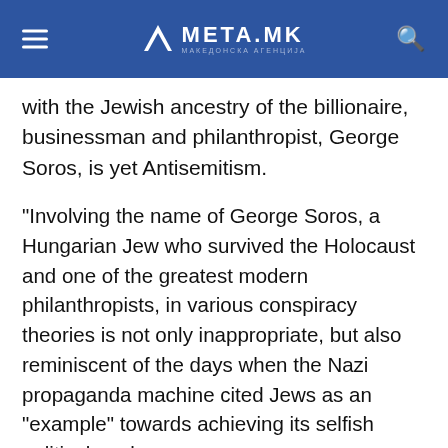META.MK
with the Jewish ancestry of the billionaire, businessman and philanthropist, George Soros, is yet Antisemitism.
“Involving the name of George Soros, a Hungarian Jew who survived the Holocaust and one of the greatest modern philanthropists, in various conspiracy theories is not only inappropriate, but also reminiscent of the days when the Nazi propaganda machine cited Jews as an “example” towards achieving its selfish political goals.
In recent years, the name Soros, or the term